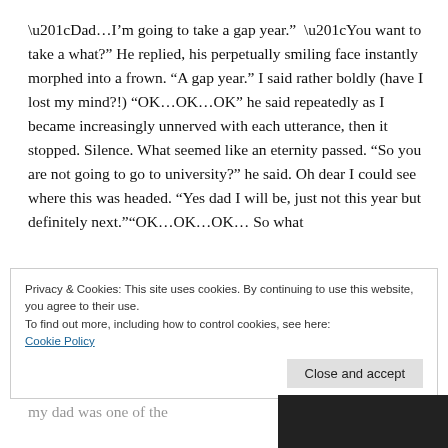“Dad…I’m going to take a gap year.” “You want to take a what?” He replied, his perpetually smiling face instantly morphed into a frown. “A gap year.” I said rather boldly (have I lost my mind?!) “OK…OK…OK” he said repeatedly as I became increasingly unnerved with each utterance, then it stopped. Silence. What seemed like an eternity passed. “So you are not going to go to university?” he said. Oh dear I could see where this was headed. “Yes dad I will be, just not this year but definitely next.”“OK…OK…OK… So what
Privacy & Cookies: This site uses cookies. By continuing to use this website, you agree to their use.
To find out more, including how to control cookies, see here:
Cookie Policy
Close and accept
my dad was one of the